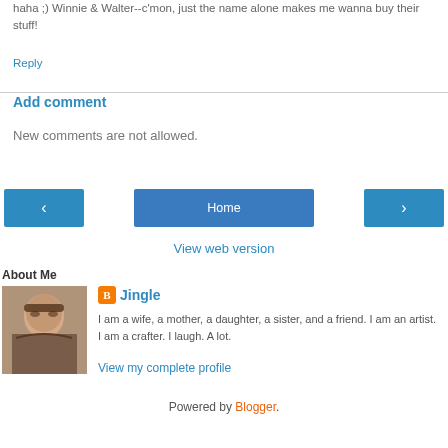haha ;) Winnie & Walter--c'mon, just the name alone makes me wanna buy their stuff!
Reply
Add comment
New comments are not allowed.
‹
Home
›
View web version
About Me
[Figure (photo): Profile photo of Jingle, a woman with long brown hair wearing sunglasses]
Jingle
I am a wife, a mother, a daughter, a sister, and a friend. I am an artist. I am a crafter. I laugh. A lot.
View my complete profile
Powered by Blogger.